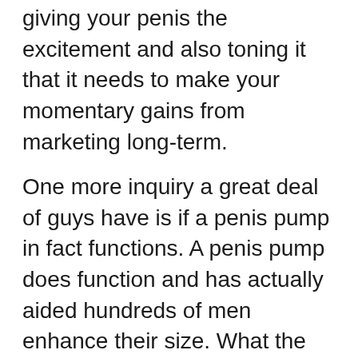giving your penis the excitement and also toning it that it needs to make your momentary gains from marketing long-term.
One more inquiry a great deal of guys have is if a penis pump in fact functions. A penis pump does function and has actually aided hundreds of men enhance their size. What the pump does is permit you to add just enough grip force to move your penis backwards and forwards in order to give you a great massage. The extra blood that is being pumped into your penis by the pump after that takes a trip up the shaft of your penis, and the chambers underneath it. This permits the cells in the penis to increase greatly, developing massive quantities of cells that will eventually be deposited in your